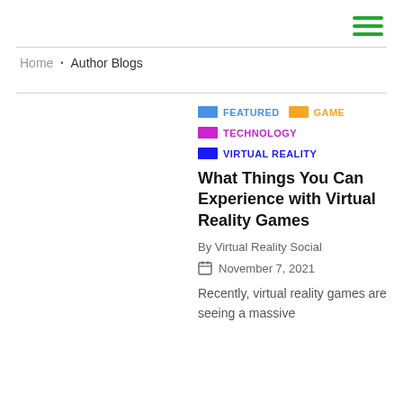hamburger menu icon
Home • Author Blogs
FEATURED
GAME
TECHNOLOGY
VIRTUAL REALITY
What Things You Can Experience with Virtual Reality Games
By Virtual Reality Social
November 7, 2021
Recently, virtual reality games are seeing a massive